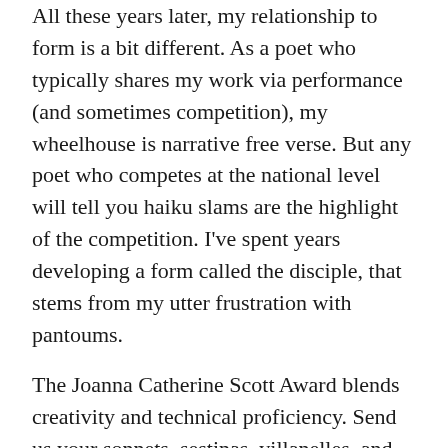All these years later, my relationship to form is a bit different. As a poet who typically shares my work via performance (and sometimes competition), my wheelhouse is narrative free verse. But any poet who competes at the national level will tell you haiku slams are the highlight of the competition. I've spent years developing a form called the disciple, that stems from my utter frustration with pantoums.
The Joanna Catherine Scott Award blends creativity and technical proficiency. Send us your sonnets, sestinas, villanelles, and pantoums. Bops and ballades. Centos and ghazals. Send us your contemporary expressed in 50 lines or less through traditional form  to pinesongawards@gmail.com. Be sure to check out the adult contest page for a complete list of submission